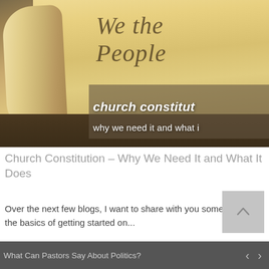[Figure (photo): Photo of rolled parchment scrolls showing calligraphic text 'We the People', with a dark overlay showing article title text: 'church constitu... why we need it and what i...']
Church Constitution – Why We Need It and What It Does
Over the next few blogs, I want to share with you some of the basics of getting started on...
What Can Pastors Say About Politics?  <  >